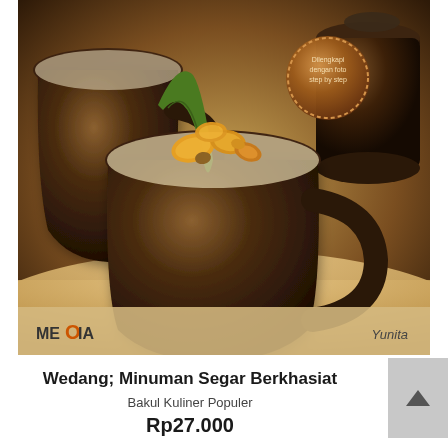[Figure (photo): Book cover photo showing dark brown ceramic mugs/cups containing a warm drink topped with jackfruit or similar yellow fruit pieces and a pandan leaf. A small round bronze/brown badge with Indonesian text 'Dilengkapi dengan foto step by step' appears in the upper right. Bottom bar shows 'MEDIA' logo on the left and 'Yunita' author name on the right. Background is warm beige/tan.]
Wedang; Minuman Segar Berkhasiat
Bakul Kuliner Populer
Rp27.000